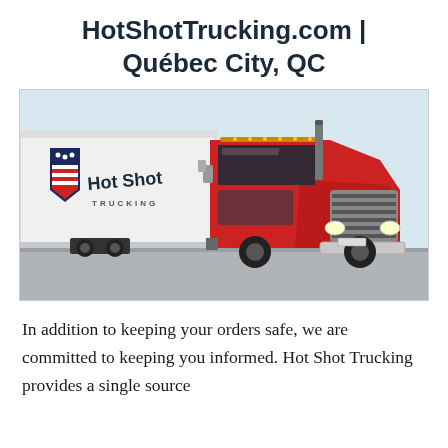HotShotTrucking.com | Québec City, QC
[Figure (photo): A red Hot Shot Trucking semi-truck with white trailer bearing the Hot Shot Trucking logo (shield with stars and stripes), photographed from a front-left angle in a parking lot.]
In addition to keeping your orders safe, we are committed to keeping you informed. Hot Shot Trucking provides a single source